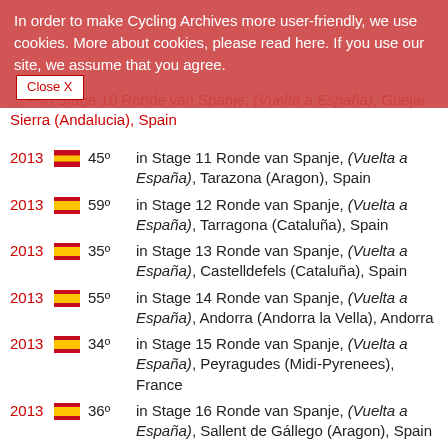In order to make Cycling Archives more user-friendly, we use cookies. More about cookies, please read here. If you use our site, we assume that you agree. [Close X]
2013 [ES] -- in Stage 10 Ronde van Spanje, (Vuelta a España), Güejar Sierra (Andalucia), Spain
2013 [ES] 45º in Stage 11 Ronde van Spanje, (Vuelta a España), Tarazona (Aragon), Spain
2013 [ES] 59º in Stage 12 Ronde van Spanje, (Vuelta a España), Tarragona (Cataluña), Spain
2013 [ES] 35º in Stage 13 Ronde van Spanje, (Vuelta a España), Castelldefels (Cataluña), Spain
2013 [ES] 55º in Stage 14 Ronde van Spanje, (Vuelta a España), Andorra (Andorra la Vella), Andorra
2013 [ES] 34º in Stage 15 Ronde van Spanje, (Vuelta a España), Peyragudes (Midi-Pyrenees), France
2013 [ES] 36º in Stage 16 Ronde van Spanje, (Vuelta a España), Sallent de Gállego (Aragon), Spain
2013 [ES] 42º in Stage 17 Ronde van Spanje, (Vuelta a España), Burgos (Castilla y Leon), Spain
2013 [ES] 40º in Stage 18 Ronde van Spanje, (Vuelta a España), Peña Cabarga (Cantabria), Spain
2013 [ES] 56º in Stage 19 Ronde van Spanje, (Vuelta a España), Alto del Naranco (Asturias), Spain